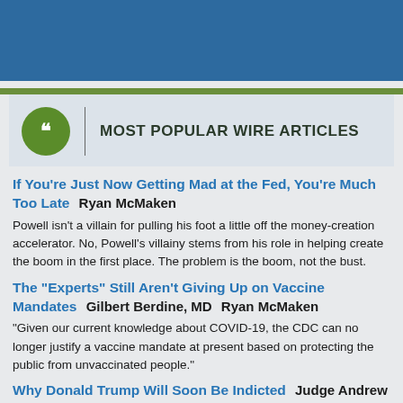[Figure (other): Blue header banner at top of page]
MOST POPULAR WIRE ARTICLES
If You're Just Now Getting Mad at the Fed, You're Much Too Late   Ryan McMaken
Powell isn't a villain for pulling his foot a little off the money-creation accelerator. No, Powell's villainy stems from his role in helping create the boom in the first place. The problem is the boom, not the bust.
The "Experts" Still Aren't Giving Up on Vaccine Mandates   Gilbert Berdine, MD   Ryan McMaken
"Given our current knowledge about COVID-19, the CDC can no longer justify a vaccine mandate at present based on protecting the public from unvaccinated people."
Why Donald Trump Will Soon Be Indicted   Judge Andrew P. Napolitano